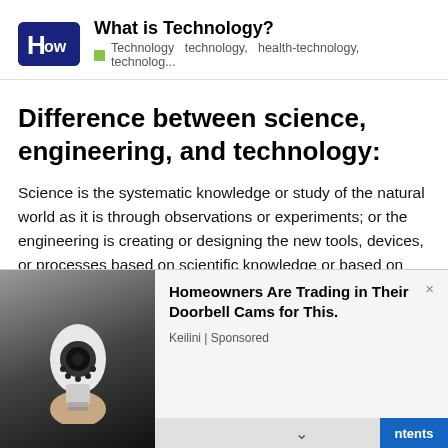What is Technology? | Technology  technology,  health-technology,  technolog...
Difference between science, engineering, and technology:
Science is the systematic knowledge or study of the natural world as it is through observations or experiments; or the engineering is creating or designing the new tools, devices, or processes based on scientific knowledge or based on results and techniques from science.
[Figure (photo): Advertisement banner showing a hand holding a light-bulb shaped security camera with text: Homeowners Are Trading in Their Doorbell Cams for This. Keilini | Sponsored]